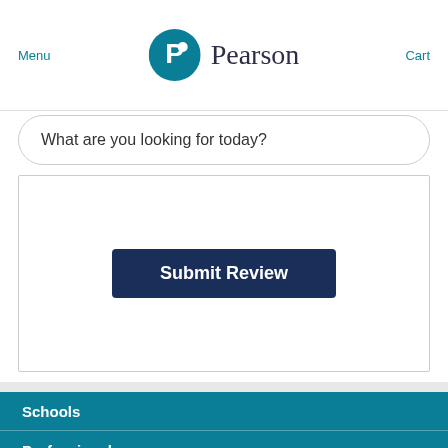Menu  Pearson  Cart
What are you looking for today?
Submit Review
Schools
Professional
TVET